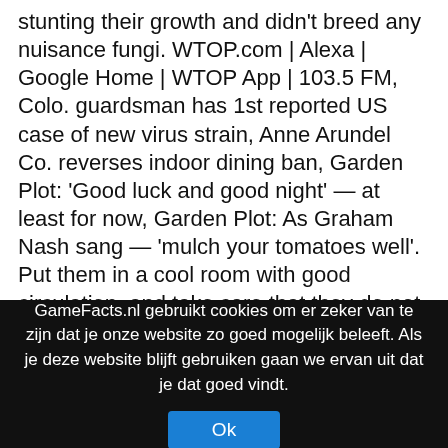stunting their growth and didn't breed any nuisance fungi. WTOP.com | Alexa | Google Home | WTOP App | 103.5 FM, Colo. guardsman has 1st reported US case of new virus strain, Anne Arundel Co. reverses indoor dining ban, Garden Plot: 'Good luck and good night' — at least for now, Garden Plot: As Graham Nash sang — 'mulch your tomatoes well'. Put them in a cool room with good circulation, and take care that they do not touch. Unlike people, plants don't "feel" the wind chill, and the movement of the wind can help keep ... Anne Arundel Co. executive replaces order that would have banned indoor dining, Police ID man killed at Fairfax County worksite, Hundreds of Fairfax County health care workers receive COVID-19 vaccine, Telework dominated 2020 and here are the reasons why it was successful. After a year of high retention,
GameFacts.nl gebruikt cookies om er zeker van te zijn dat je onze website zo goed mogelijk beleeft. Als je deze website blijft gebruiken gaan we ervan uit dat je dat goed vindt.